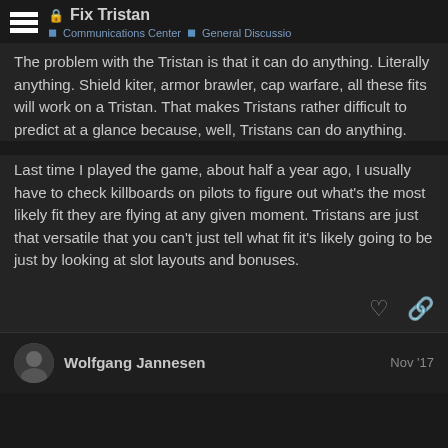Fix Tristan | Communications Center | General Discussio
The problem with the Tristan is that it can do anything. Literally anything. Shield kiter, armor brawler, cap warfare, all these fits will work on a Tristan. That makes Tristans rather difficult to predict at a glance because, well, Tristans can do anything.
Last time I played the game, about half a year ago, I usually have to check killboards on pilots to figure out what's the most likely fit they are flying at any given moment. Tristans are just that versatile that you can't just tell what fit it's likely going to be just by looking at slot layouts and bonuses.
Wolfgang Jannesen   Nov '17